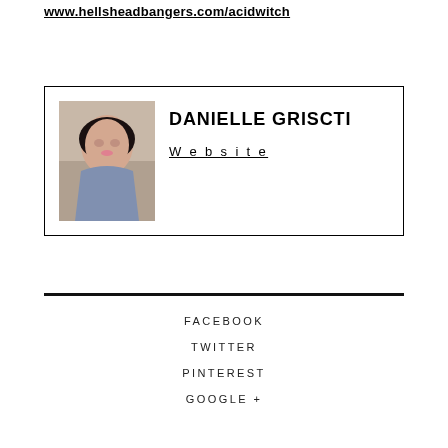www.hellsheadbangers.com/acidwitch
[Figure (photo): Portrait photo of Danielle Griscti, a woman with dark curly hair and pink lips]
DANIELLE GRISCTI
Website
FACEBOOK
TWITTER
PINTEREST
GOOGLE +